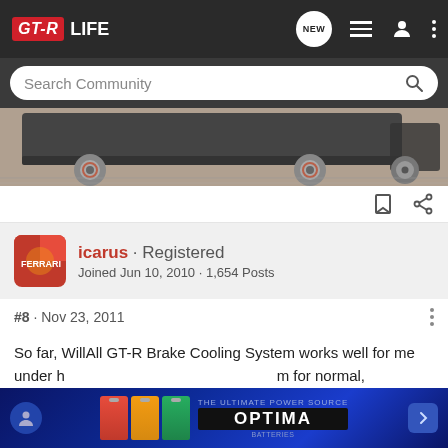GT-R LIFE
Search Community
[Figure (photo): Bottom portion of a sports car (GT-R) showing wheels, rotors, and underside, parked on a concrete surface]
icarus · Registered
Joined Jun 10, 2010 · 1,654 Posts
#8 · Nov 23, 2011
So far, WillAll GT-R Brake Cooling System works well for me under h...conditions with...m for normal,...our rotors a...ant me
[Figure (photo): OPTIMA Batteries advertisement banner with blue background showing battery products]